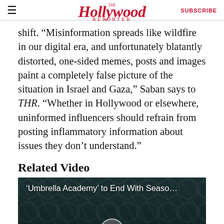The Hollywood Reporter | SUBSCRIBE
shift. “Misinformation spreads like wildfire in our digital era, and unfortunately blatantly distorted, one-sided memes, posts and images paint a completely false picture of the situation in Israel and Gaza,” Saban says to THR. “Whether in Hollywood or elsewhere, uninformed influencers should refrain from posting inflammatory information about issues they don’t understand.”
Related Video
[Figure (screenshot): Video thumbnail for 'Umbrella Academy' to End With Seaso... showing a person in dark clothing against a dark decorative background with a play button overlay]